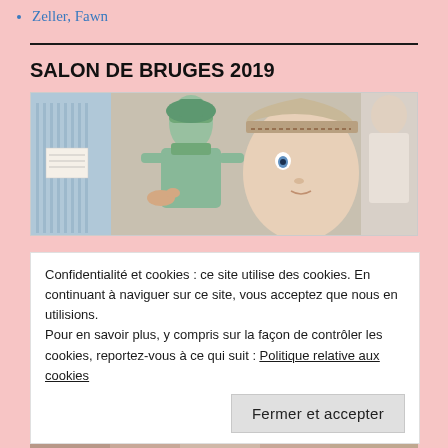Zeller, Fawn
SALON DE BRUGES 2019
[Figure (photo): Photo of dolls displayed at Salon de Bruges 2019, showing antique and artistic dolls in teal/green costumes and period dress]
Confidentialité et cookies : ce site utilise des cookies. En continuant à naviguer sur ce site, vous acceptez que nous en utilisions.
Pour en savoir plus, y compris sur la façon de contrôler les cookies, reportez-vous à ce qui suit : Politique relative aux cookies
Fermer et accepter
[Figure (photo): Bottom portion of another doll photo at the salon]